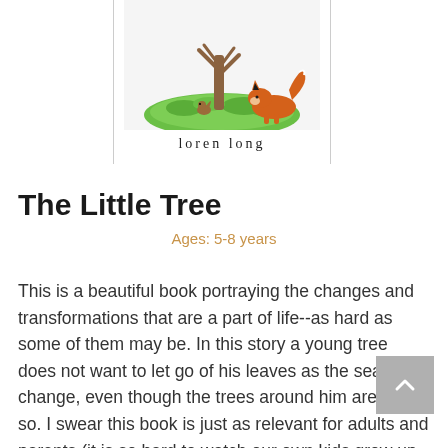[Figure (illustration): Book cover illustration of a fox and squirrel near a tree with grass, partially cropped. Below illustration is the author name 'loren long' in spaced serif letters.]
The Little Tree
Ages: 5-8 years
This is a beautiful book portraying the changes and transformations that are a part of life--as hard as some of them may be. In this story a young tree does not want to let go of his leaves as the seasons change, even though the trees around him are doing so. I swear this book is just as relevant for adults and parents (it is so hard to watch our own kids grow up and for us to let go!)